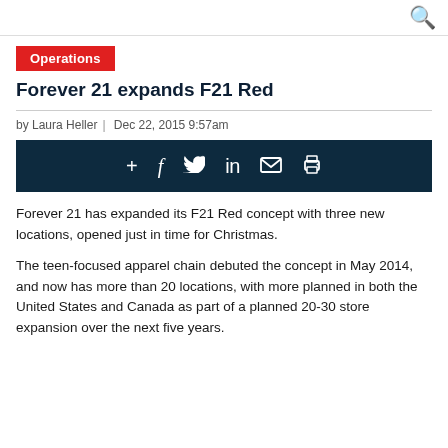🔍
Operations
Forever 21 expands F21 Red
by Laura Heller | Dec 22, 2015 9:57am
[Figure (infographic): Social sharing bar with icons: +, f, Twitter bird, in, envelope, printer on dark navy background]
Forever 21 has expanded its F21 Red concept with three new locations, opened just in time for Christmas.
The teen-focused apparel chain debuted the concept in May 2014, and now has more than 20 locations, with more planned in both the United States and Canada as part of a planned 20-30 store expansion over the next five years.